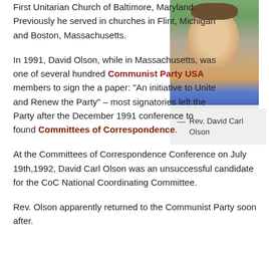First Unitarian Church of Baltimore, Maryland. Previously he served in churches in Flint, Michigan and Boston, Massachusetts.
[Figure (photo): Portrait photo of Rev. David Carl Olson, a middle-aged man with brown hair, smiling, wearing a blue denim shirt, outdoors with green foliage in background.]
— Rev. David Carl Olson
In 1991, David Olson, while in Massachusetts, was one of several hundred Communist Party USA members to sign the a paper: “An initiative to Unite and Renew the Party” – most signatories left the Party after the December 1991 conference to found Committees of Correspondence.
At the Committees of Correspondence Conference on July 19th,1992, David Carl Olson was an unsuccessful candidate for the CoC National Coordinating Committee.
Rev. Olson apparently returned to the Communist Party soon after.